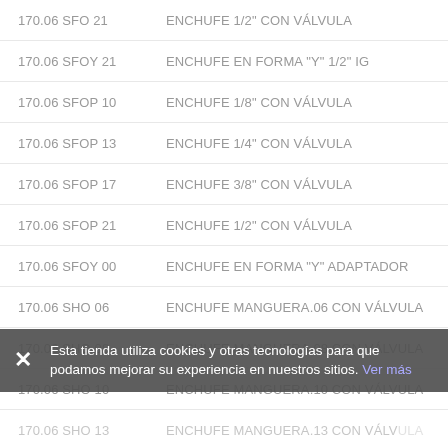170.06 SFO 21   ENCHUFE 1/2" CON VÁLVULA
170.06 SFOY 21   ENCHUFE EN FORMA "Y" 1/2" IG
170.06 SFOP 10   ENCHUFE 1/8" CON VÁLVULA
170.06 SFOP 13   ENCHUFE 1/4" CON VÁLVULA
170.06 SFOP 17   ENCHUFE 3/8" CON VÁLVULA
170.06 SFOP 21   ENCHUFE 1/2" CON VÁLVULA
170.06 SFOY 00   ENCHUFE EN FORMA "Y" ADAPTADOR
170.06 SHO 06   ENCHUFE MANGUERA.06 CON VÁLVULA
170.06 SHO 08   ENCHUFE MANGUERA.08 CON VÁLVULA
170.06 SHO 10   ENCHUFE MANGUERA.10 CON VÁLVULA
170.06 SHO 13   ENCHUFE MANGUERA.13 CON VÁLVULA
170.06 SHOP 06   ENCHUFE MANGUERA.06 CON VÁLVULA
170.06 SHOP 08   ENCHUFE MANGUERA.08 CON VÁLVULA
Esta tienda utiliza cookies y otras tecnologías para que podamos mejorar su experiencia en nuestros sitios. Ver más